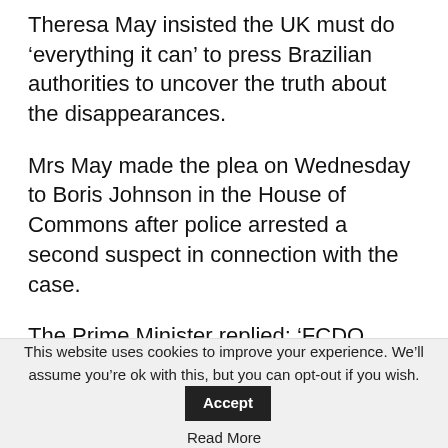Theresa May insisted the UK must do ‘everything it can’ to press Brazilian authorities to uncover the truth about the disappearances.
Mrs May made the plea on Wednesday to Boris Johnson in the House of Commons after police arrested a second suspect in connection with the case.
The Prime Minister replied: ‘FCDO officials are working closely now with the Brazilian authorities following his disappearance on June 5.
This website uses cookies to improve your experience. We’ll assume you’re ok with this, but you can opt-out if you wish. Accept Read More